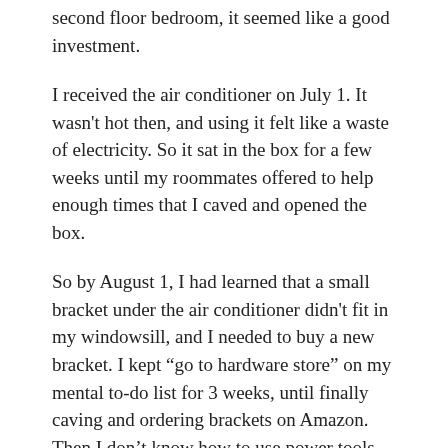second floor bedroom, it seemed like a good investment.
I received the air conditioner on July 1. It wasn't hot then, and using it felt like a waste of electricity. So it sat in the box for a few weeks until my roommates offered to help enough times that I caved and opened the box.
So by August 1, I had learned that a small bracket under the air conditioner didn't fit in my windowsill, and I needed to buy a new bracket. I kept “go to hardware store” on my mental to-do list for 3 weeks, until finally caving and ordering brackets on Amazon. Then I don’t know how to use power tools, so